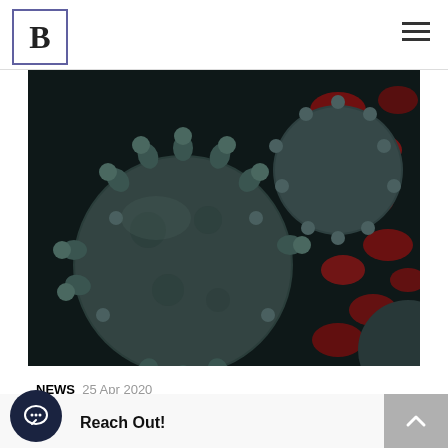B [logo] with hamburger menu
[Figure (photo): Close-up 3D render of coronavirus particles (SARS-CoV-2) shown in grey/teal with spike proteins, surrounded by red blood cells on a dark background.]
NEWS  25 Apr 2020
Coronavirus Operations 2020
Reach Out!